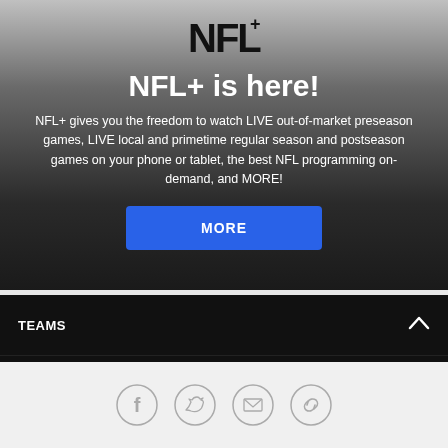[Figure (logo): NFL+ logo in bold black serif font with a plus sign superscript]
NFL+ is here!
NFL+ gives you the freedom to watch LIVE out-of-market preseason games, LIVE local and primetime regular season and postseason games on your phone or tablet, the best NFL programming on-demand, and MORE!
MORE
TEAMS
GENERAL & MEDIA INFO
[Figure (infographic): Social media icons: Facebook, Twitter, Email, and a link/chain icon arranged in a row]